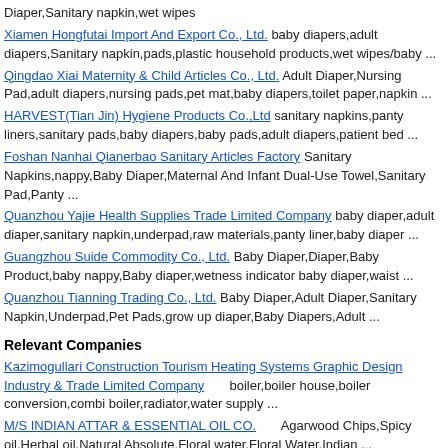Diaper,Sanitary napkin,wet wipes
Xiamen Hongfutai Import And Export Co., Ltd. baby diapers,adult diapers,Sanitary napkin,pads,plastic household products,wet wipes/baby ...
Qingdao Xiai Maternity & Child Articles Co., Ltd. Adult Diaper,Nursing Pad,adult diapers,nursing pads,pet mat,baby diapers,toilet paper,napkin ...
HARVEST(Tian Jin) Hygiene Products Co.,Ltd sanitary napkins,panty liners,sanitary pads,baby diapers,baby pads,adult diapers,patient bed ...
Foshan Nanhai Qianerbao Sanitary Articles Factory Sanitary Napkins,nappy,Baby Diaper,Maternal And Infant Dual-Use Towel,Sanitary Pad,Panty ...
Quanzhou Yajie Health Supplies Trade Limited Company baby diaper,adult diaper,sanitary napkin,underpad,raw materials,panty liner,baby diaper ...
Guangzhou Suide Commodity Co., Ltd. Baby Diaper,Diaper,Baby Product,baby nappy,Baby diaper,wetness indicator baby diaper,waist ...
Quanzhou Tianning Trading Co., Ltd. Baby Diaper,Adult Diaper,Sanitary Napkin,Underpad,Pet Pads,grow up diaper,Baby Diapers,Adult ...
Relevant Companies
Kazimogullari Construction Tourism Heating Systems Graphic Design Industry & Trade Limited Company      boiler,boiler house,boiler conversion,combi boiler,radiator,water supply ...
M/S INDIAN ATTAR & ESSENTIAL OIL CO.       Agarwood Chips,Spicy oil,Herbal oil,Natural Absolute,Floral water,Floral Water,Indian ...
Dongguan Jinheng Packages Materials Co., Ltd.       food package bag,electronic bag,composite bag,roll film,aluminum foil bag,Spout bag,Chemical ...
FoShancityShunDeDistrict ChaomanyangStainless Steel Co.Ltd      Stainless Steel Pipes